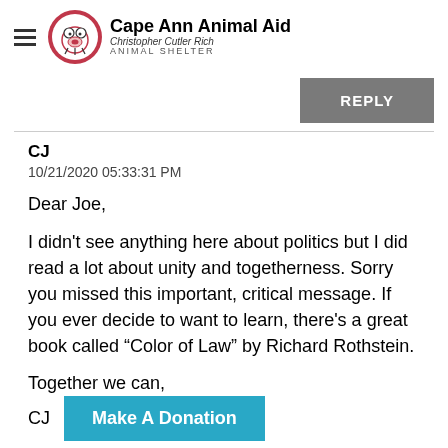Cape Ann Animal Aid | Christopher Cutler Rich Animal Shelter
REPLY
CJ
10/21/2020 05:33:31 PM
Dear Joe,
I didn't see anything here about politics but I did read a lot about unity and togetherness. Sorry you missed this important, critical message. If you ever decide to want to learn, there's a great book called “Color of Law” by Richard Rothstein.
Together we can,
CJ
Make A Donation